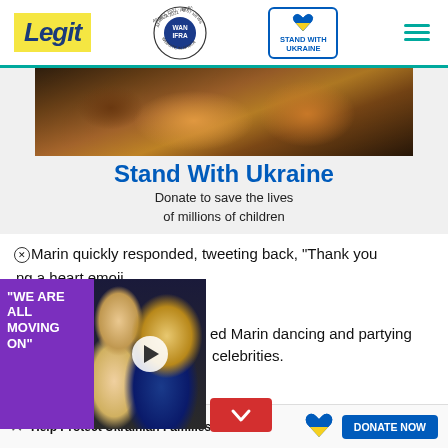Legit | WAN-IFRA 2021 Best News Website in Africa | Stand With Ukraine
[Figure (screenshot): Advertisement banner: Photo of stuffed animals and children items, with headline 'Stand With Ukraine' and subtext 'Donate to save the lives of millions of children']
Marin quickly responded, tweeting back, "Thank you [adding a heart emoji].
[Figure (photo): Video promo overlay with text 'WE ARE ALL MOVING ON' on purple background, showing two celebrities, with play button]
ed Marin dancing and partying [with] celebrities.
e behavior for a prime
Help Protect Ukrainian Families | DONATE NOW